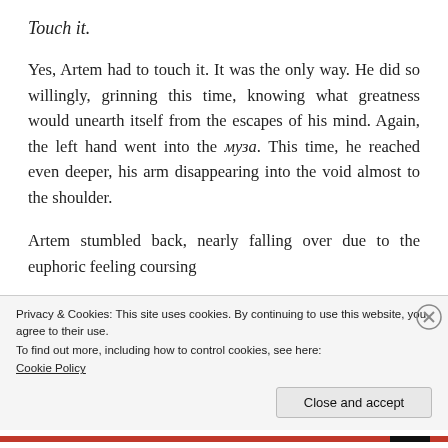Touch it.
Yes, Artem had to touch it. It was the only way. He did so willingly, grinning this time, knowing what greatness would unearth itself from the escapes of his mind. Again, the left hand went into the муза. This time, he reached even deeper, his arm disappearing into the void almost to the shoulder.
Artem stumbled back, nearly falling over due to the euphoric feeling coursing
Privacy & Cookies: This site uses cookies. By continuing to use this website, you agree to their use.
To find out more, including how to control cookies, see here:
Cookie Policy
Close and accept